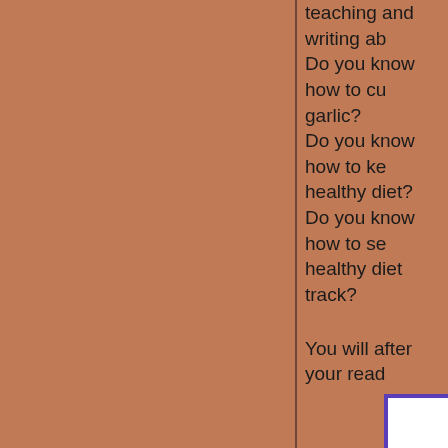teaching and writing ab
Do you know how to cu garlic?
Do you know how to ke healthy diet?
Do you know how to se healthy diet track?
You will after your read
The Light Within Me (